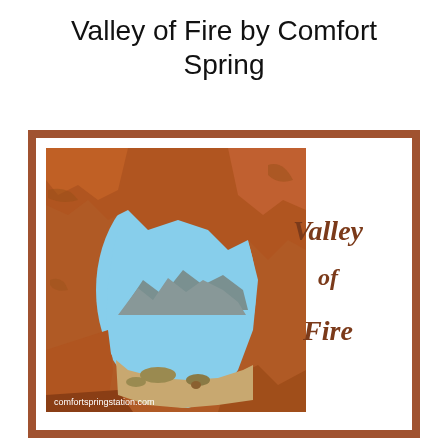Valley of Fire by Comfort Spring
[Figure (photo): Photo of Valley of Fire viewed through a natural rock arch opening, showing red sandstone rocks framing a heart-shaped hole with mountains and desert landscape visible through it. Text 'Valley of Fire' appears to the right in a brown serif font. Website 'comfortspringstation.com' shown at bottom left of photo. Contained within a brown-bordered white frame.]